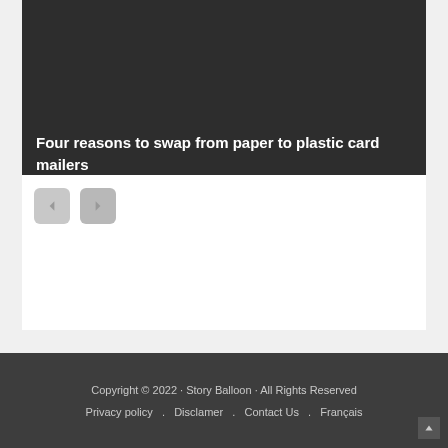[Figure (photo): Dark gray/black image background for article card]
Four reasons to swap from paper to plastic card mailers
[Figure (other): Two navigation buttons (previous/next arrows) in gray rounded squares]
Copyright © 2022 · Story Balloon · All Rights Reserved
Privacy policy  .  Disclamer  .  Contact Us  .  Français